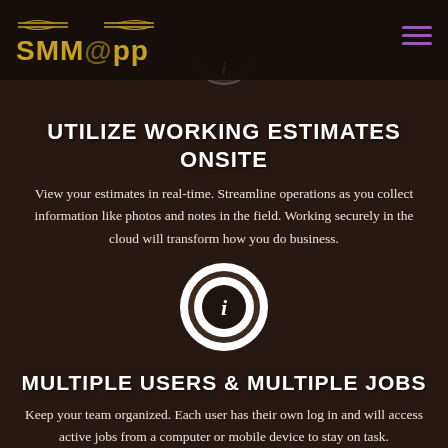SMMapp
[Figure (illustration): Dark background photo of hands/desk, heavily darkened overlay. Partially visible circle icon at top center (info icon cut off at top).]
UTILIZE WORKING ESTIMATES ONSITE
View your estimates in real-time. Streamline operations as you collect information like photos and notes in the field. Working securely in the cloud will transform how you do business.
[Figure (illustration): White circle info icon with dark inner circle containing italic 'i' letter, surrounded by white ring on dark background.]
MULTIPLE USERS & MULTIPLE JOBS
Keep your team organized. Each user has their own log in and will access active jobs from a computer or mobile device to stay on task.